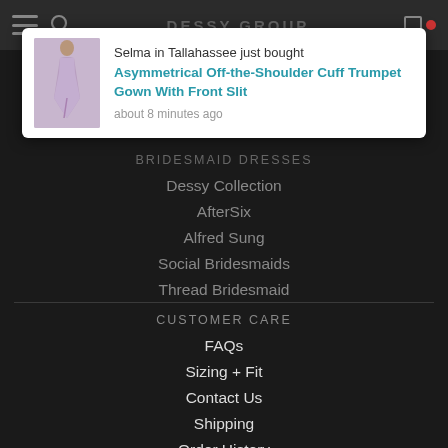DESSY GROUP
[Figure (screenshot): Popup notification showing a model in a lavender trumpet gown with text: Selma in Tallahassee just bought Asymmetrical Off-the-Shoulder Cuff Trumpet Gown With Front Slit, about 8 minutes ago]
BRIDESMAID DRESSES
Dessy Collection
AfterSix
Alfred Sung
Social Bridesmaids
Thread Bridesmaid
CUSTOMER CARE
FAQs
Sizing + Fit
Contact Us
Shipping
Order History
Return Policy
International Shipping